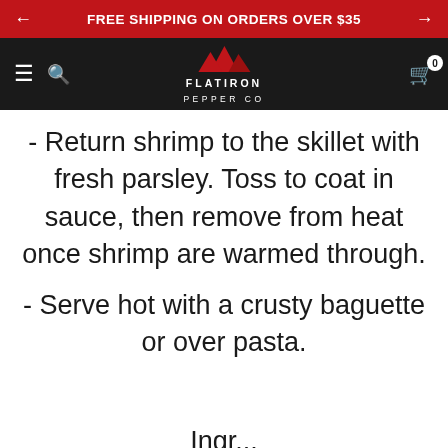FREE SHIPPING ON ORDERS OVER $35
[Figure (logo): Flatiron Pepper Co logo with red mountain peaks and white text on black navigation bar]
- Return shrimp to the skillet with fresh parsley. Toss to coat in sauce, then remove from heat once shrimp are warmed through.
- Serve hot with a crusty baguette or over pasta.
Ingr...